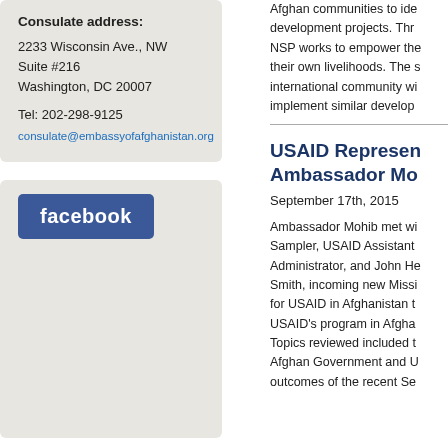Consulate address:
2233 Wisconsin Ave., NW
Suite #216
Washington, DC 20007

Tel: 202-298-9125
consulate@embassyofafghanistan.org
[Figure (logo): Facebook logo button - blue rectangle with white text 'facebook']
Afghan communities to identify development projects. Through NSP works to empower the their own livelihoods. The s international community wi implement similar develop
USAID Represen Ambassador Mo
September 17th, 2015
Ambassador Mohib met wi Sampler, USAID Assistant Administrator, and John He Smith, incoming new Missi for USAID in Afghanistan t USAID's program in Afgha Topics reviewed included t Afghan Government and U outcomes of the recent Se